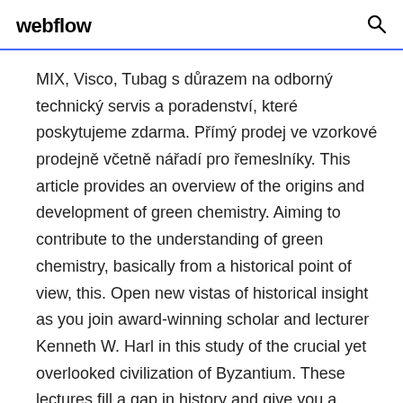webflow
MIX, Visco, Tubag s důrazem na odborný technický servis a poradenství, které poskytujeme zdarma. Přímý prodej ve vzorkové prodejně včetně nářadí pro řemeslníky. This article provides an overview of the origins and development of green chemistry. Aiming to contribute to the understanding of green chemistry, basically from a historical point of view, this. Open new vistas of historical insight as you join award-winning scholar and lecturer Kenneth W. Harl in this study of the crucial yet overlooked civilization of Byzantium. These lectures fill a gap in history and give you a much wider and...